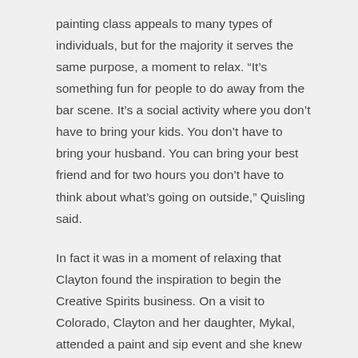painting class appeals to many types of individuals, but for the majority it serves the same purpose, a moment to relax. “It’s something fun for people to do away from the bar scene. It’s a social activity where you don’t have to bring your kids. You don’t have to bring your husband. You can bring your best friend and for two hours you don’t have to think about what’s going on outside,” Quisling said.
In fact it was in a moment of relaxing that Clayton found the inspiration to begin the Creative Spirits business. On a visit to Colorado, Clayton and her daughter, Mykal, attended a paint and sip event and she knew she had to bring the idea to Iowa. “My trip was to decompress, to relax, and to figure out what I was going